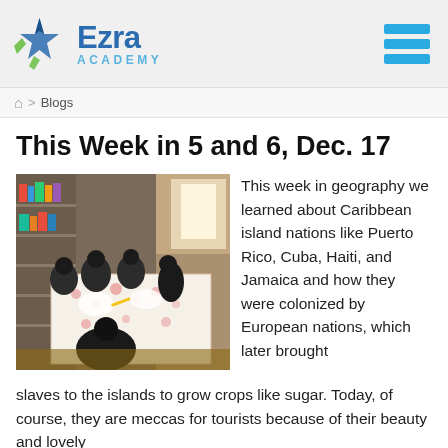Ezra Academy
Blogs
This Week in 5 and 6, Dec. 17
[Figure (photo): Students sitting around a table in a classroom working on an activity, with bookshelves in the background.]
This week in geography we learned about Caribbean island nations like Puerto Rico, Cuba, Haiti, and Jamaica and how they were colonized by European nations, which later brought slaves to the islands to grow crops like sugar. Today, of course, they are meccas for tourists because of their beauty and lovely